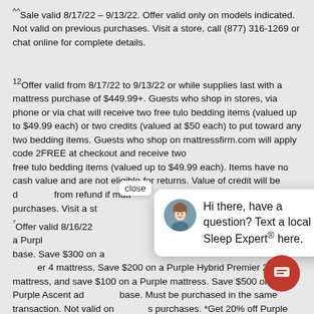^^Sale valid 8/17/22 – 9/13/22. Offer valid only on models indicated. Not valid on previous purchases. Visit a store, call (877) 316-1269 or chat online for complete details.
¹²Offer valid from 8/17/22 to 9/13/22 or while supplies last with a mattress purchase of $449.99+. Guests who shop in stores, via phone or via chat will receive two free tulo bedding items (valued up to $49.99 each) or two credits (valued at $50 each) to put toward any two bedding items. Guests who shop on mattressfirm.com will apply code 2FREE at checkout and receive two free tulo bedding items (valued up to $49.99 each). Items have no cash value and are not eligible for returns. Value of credit will be deducted from refund if mattress is returned. Not valid on previous purchases. Visit a store or chat online for complete details.
⁷Offer valid 8/16/22 – 9/13/22 or while supplies last with purchase of a Purple Hybrid Premier 4, Purple Hybrid Premier 3, or adjustable base. Save $300 on a Purple Hybrid Premier 3 or Purple Hybrid Premier 4 mattress, Save $200 on a Purple Hybrid Premier 2 mattress, and save $100 on a Purple mattress. Save $500 on the Purple Ascent adjustable base. Must be purchased in the same transaction. Not valid on previous purchases. *Get 20% off Purple pillows, sheets, and protectors. Savings applied to listed price. Offer not valid on previous purchases. Visit a store or chat online for complete details.
[Figure (other): Live chat popup overlay showing a photo of a female customer service representative with text: 'Hi there, have a question? Text a local Sleep Expert® here.' with a close button and a red chat bubble button in the bottom right.]